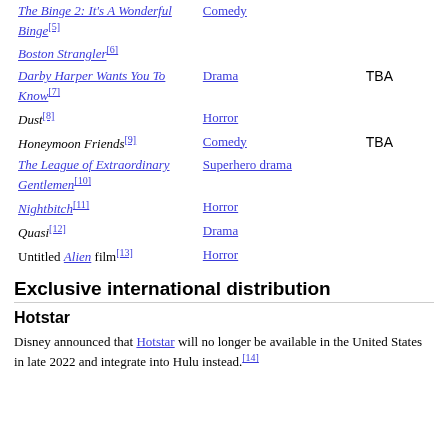| Film | Genre | Date |
| --- | --- | --- |
| The Binge 2: It's A Wonderful Binge[5] | Comedy |  |
| Boston Strangler[6] |  |  |
| Darby Harper Wants You To Know[7] | Drama | TBA |
| Dust[8] | Horror |  |
| Honeymoon Friends[9] | Comedy | TBA |
| The League of Extraordinary Gentlemen[10] | Superhero drama |  |
| Nightbitch[11] | Horror |  |
| Quasi[12] | Drama |  |
| Untitled Alien film[13] | Horror |  |
Exclusive international distribution
Hotstar
Disney announced that Hotstar will no longer be available in the United States in late 2022 and integrate into Hulu instead.[14]